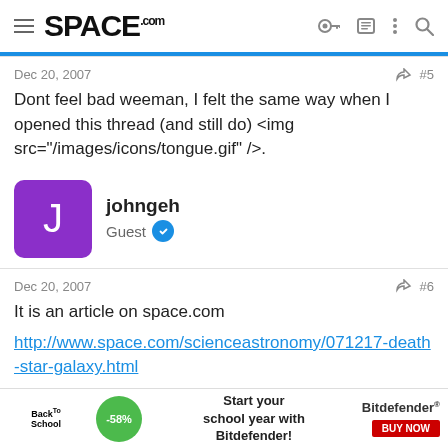SPACE.com navigation bar
Dec 20, 2007
#5
Dont feel bad weeman, I felt the same way when I opened this thread (and still do) <img src="/images/icons/tongue.gif" />.
johngeh
Guest
Dec 20, 2007
#6
It is an article on space.com
http://www.space.com/scienceastronomy/071217-death-star-galaxy.html
MeteorWayne